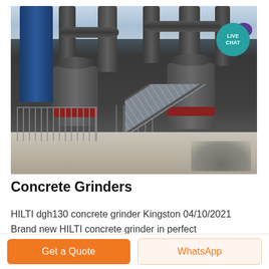[Figure (photo): Industrial concrete grinder facility with large cylindrical silos, metal pipes, conveyor belts, and fencing on a concrete surface. Blue sky in background. Live Chat button overlay in top-right corner.]
Concrete Grinders
HILTI dgh130 concrete grinder Kingston 04/10/2021
Brand new HILTI concrete grinder in perfect
Get a Quote
WhatsApp